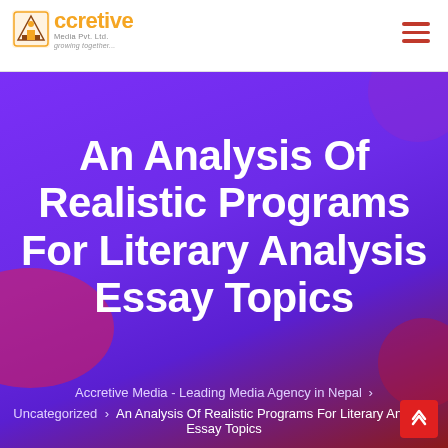[Figure (logo): Accretive Media Pvt. Ltd. logo with stylized building icon and tagline 'growing together']
An Analysis Of Realistic Programs For Literary Analysis Essay Topics
Accretive Media - Leading Media Agency in Nepal > Uncategorized > An Analysis Of Realistic Programs For Literary Analysis Essay Topics